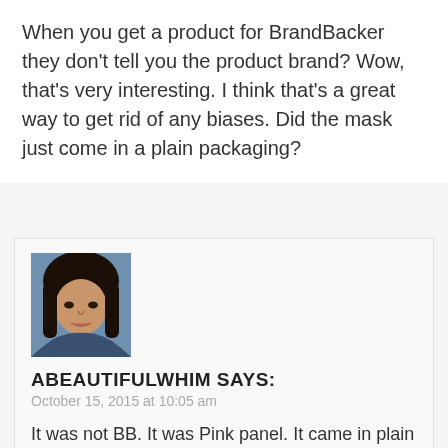When you get a product for BrandBacker they don't tell you the product brand? Wow, that's very interesting. I think that's a great way to get rid of any biases. Did the mask just come in a plain packaging?
[Figure (photo): Profile photo of a young woman with long dark hair and bangs, selfie-style photo]
ABEAUTIFULWHIM SAYS:
October 15, 2015 at 10:05 am
It was not BB. It was Pink panel. It came in plain white packaging with just a plain label. No idea who it is but I know I like it!